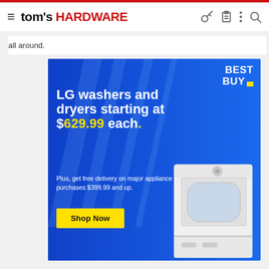tom's HARDWARE
all around.
[Figure (illustration): Best Buy advertisement for LG washers and dryers starting at $629.99 each, with free delivery on major appliance purchases $399.99 and up. Shop Now button. Image of a white top-load washing machine on blue background with diagonal light ray design.]